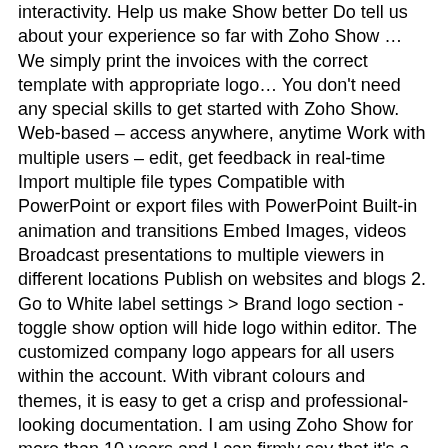interactivity. Help us make Show better Do tell us about your experience so far with Zoho Show … We simply print the invoices with the correct template with appropriate logo… You don't need any special skills to get started with Zoho Show. Web-based – access anywhere, anytime Work with multiple users – edit, get feedback in real-time Import multiple file types Compatible with PowerPoint or export files with PowerPoint Built-in animation and transitions Embed Images, videos Broadcast presentations to multiple viewers in different locations Publish on websites and blogs 2. Go to White label settings > Brand logo section - toggle show option will hide logo within editor. The customized company logo appears for all users within the account. With vibrant colours and themes, it is easy to get a crisp and professional-looking documentation. I am using Zoho Show for more than 10 years and I can firmly say that it's a true presentation powerhouse that helps my business ideas reach larger audience. It allows me to show the best image of my services. ZOHO Have a Zoho Account? Use online invoice software to grow your business. Sign Up Now "Finally gained control of my Inbox with @zoho … We have three domains (main org + 2 dba's). I'm a power user